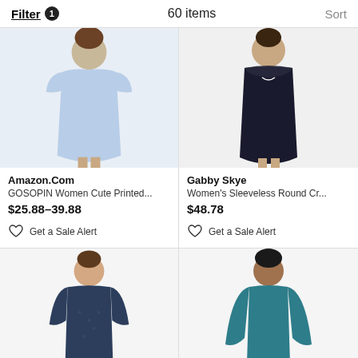Filter 1   60 items   Sort
[Figure (photo): Woman wearing light blue short-sleeve printed dress]
Amazon.Com
GOSOPIN Women Cute Printed...
$25.88–39.88
Get a Sale Alert
[Figure (photo): Woman wearing black sleeveless lace/chiffon dress]
Gabby Skye
Women's Sleeveless Round Cr...
$48.78
Get a Sale Alert
[Figure (photo): Woman wearing navy blue 3/4 sleeve lace dress]
[Figure (photo): Woman wearing teal long-sleeve casual dress]